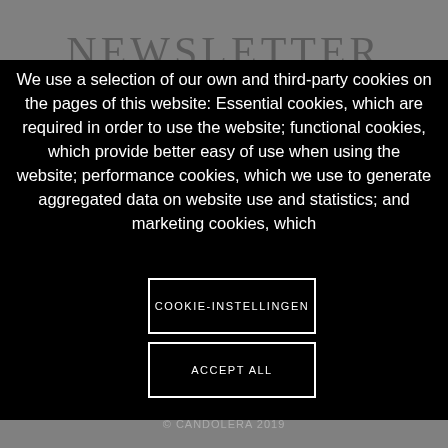NEWSLETTER
We use a selection of our own and third-party cookies on the pages of this website: Essential cookies, which are required in order to use the website; functional cookies, which provide better easy of use when using the website; performance cookies, which we use to generate aggregated data on website use and statistics; and marketing cookies, which
COOKIE-INSTELLINGEN
ACCEPT ALL
© CANDOLERA 2019